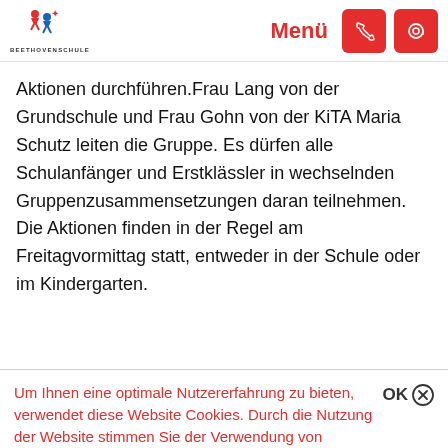BEETHOVENSCHULE | Menü
Aktionen durchführen.Frau Lang von der Grundschule und Frau Gohn von der KiTA Maria Schutz leiten die Gruppe. Es dürfen alle Schulanfänger und Erstklässler in wechselnden Gruppenzusammensetzungen daran teilnehmen. Die Aktionen finden in der Regel am Freitagvormittag statt, entweder in der Schule oder im Kindergarten.
Um Ihnen eine optimale Nutzererfahrung zu bieten, verwendet diese Website Cookies. Durch die Nutzung der Website stimmen Sie der Verwendung von Cookies zu.